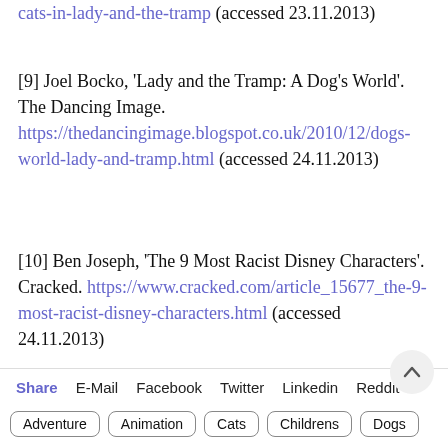cats-in-lady-and-the-tramp (accessed 23.11.2013)
[9] Joel Bocko, 'Lady and the Tramp: A Dog's World'. The Dancing Image. https://thedancingimage.blogspot.co.uk/2010/12/dogs-world-lady-and-tramp.html (accessed 24.11.2013)
[10] Ben Joseph, 'The 9 Most Racist Disney Characters'. Cracked. https://www.cracked.com/article_15677_the-9-most-racist-disney-characters.html (accessed 24.11.2013)
Share  E-Mail  Facebook  Twitter  Linkedin  Reddit  Adventure  Animation  Cats  Childrens  Dogs